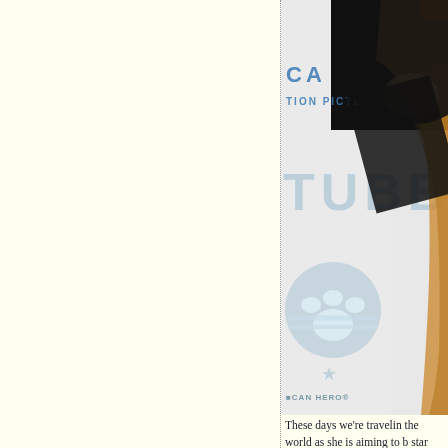[Figure (photo): Partial photo of a person with blonde/red hair at what appears to be an event backdrop featuring the text 'TUBBY' and a logo with paw print design reading 'AMERICAN HERO'. The backdrop shows partial text 'CA...' and 'TION PICTU...' suggesting a production company banner. The person is wearing a black jacket.]
These days we're travelin the world as she is aiming to b star who can help uplift th